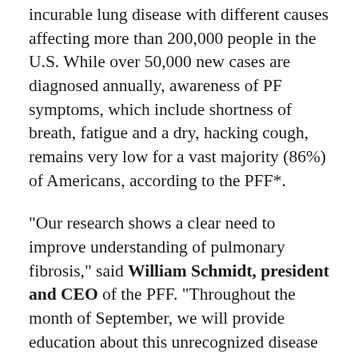incurable lung disease with different causes affecting more than 200,000 people in the U.S. While over 50,000 new cases are diagnosed annually, awareness of PF symptoms, which include shortness of breath, fatigue and a dry, hacking cough, remains very low for a vast majority (86%) of Americans, according to the PFF*.
“Our research shows a clear need to improve understanding of pulmonary fibrosis,” said William Schmidt, president and CEO of the PFF. “Throughout the month of September, we will provide education about this unrecognized disease to help drive earlier diagnoses, advocate for needed research and ultimately find a cure.”
As part of the 30-day campaign in September, the PFF will celebrate a diverse group of #PFHeroes living with pulmonary fibrosis from across the United States.